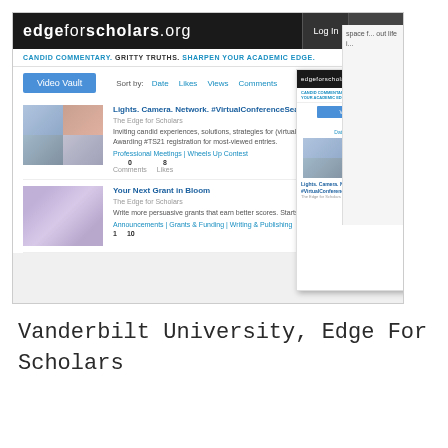[Figure (screenshot): Screenshot of edgeforscholars.org website showing Video Vault section with two video entries: 'Lights. Camera. Network. #VirtualConferenceSeason Tips Cont...' and 'Your Next Grant in Bloom', plus a mobile view overlay of the same site]
Vanderbilt University, Edge For Scholars